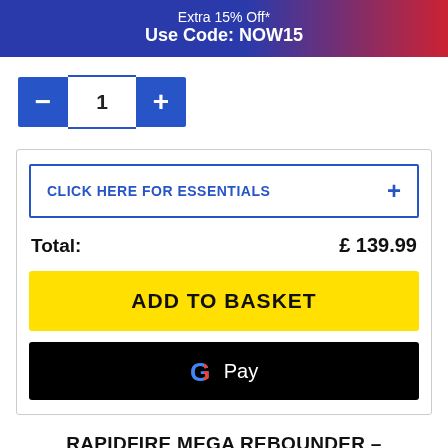Extra 15% Off*
Use Code: NOW15
1
CLICK HERE FOR ESSENTIALS
Total:  £ 139.99
ADD TO BASKET
G Pay
RAPIDFIRE MEGA REBOUNDER –